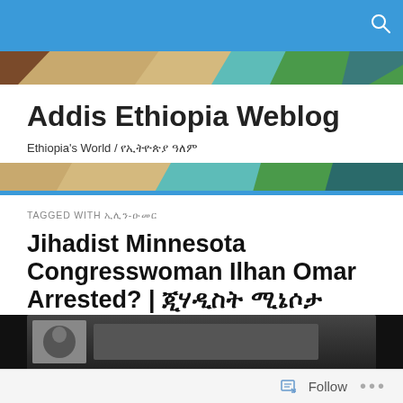Addis Ethiopia Weblog
Ethiopia's World / የኢትዮጵያ ዓለም
TAGGED WITH ኢሊን-ዑመር
Jihadist Minnesota Congresswoman Ilhan Omar Arrested? | ጂሃዲስት ሚኔሶታ ኮንግረስ ሴቲቱ ኢሊሃን ኡመር ታሰረ ወይም ታሰረ?
[Figure (photo): Partial photo visible at bottom of page, dark background]